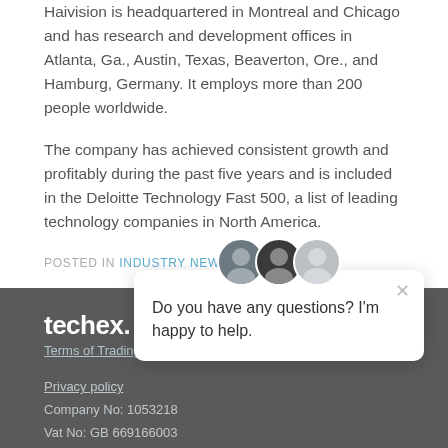Haivision is headquartered in Montreal and Chicago and has research and development offices in Atlanta, Ga., Austin, Texas, Beaverton, Ore., and Hamburg, Germany. It employs more than 200 people worldwide.
The company has achieved consistent growth and profitability during the past five years and is included in the Deloitte Technology Fast 500, a list of leading technology companies in North America.
POSTED IN INDUSTRY NEWS
techex. Terms of Trading Privacy policy Company No: 1053218 Vat No: GB 669166003 Email: sales@techex.co.uk Tel: +44 (0)1628 947 717
[Figure (screenshot): Chat widget popup with three avatars and text: Do you have any questions? I'm happy to help.]